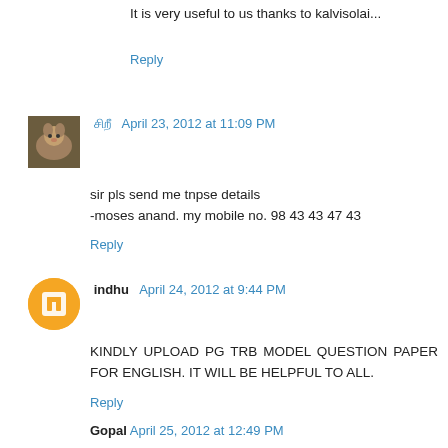It is very useful to us thanks to kalvisolai...
Reply
சிறீ  April 23, 2012 at 11:09 PM
sir pls send me tnpse details
-moses anand. my mobile no. 98 43 43 47 43
Reply
indhu  April 24, 2012 at 9:44 PM
KINDLY UPLOAD PG TRB MODEL QUESTION PAPER FOR ENGLISH. IT WILL BE HELPFUL TO ALL.
Reply
Gopal  April 25, 2012 at 12:49 PM
Hi,
Could you please upload PG trb Commerce model question